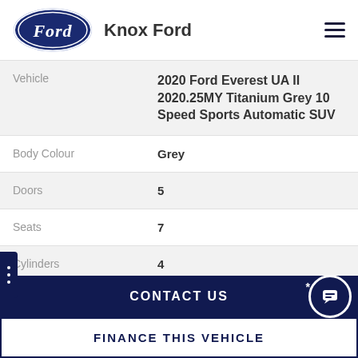Knox Ford
| Field | Value |
| --- | --- |
| Vehicle | 2020 Ford Everest UA II 2020.25MY Titanium Grey 10 Speed Sports Automatic SUV |
| Body Colour | Grey |
| Doors | 5 |
| Seats | 7 |
| Cylinders | 4 |
| Fuel Type | Diesel |
CONTACT US
FINANCE THIS VEHICLE